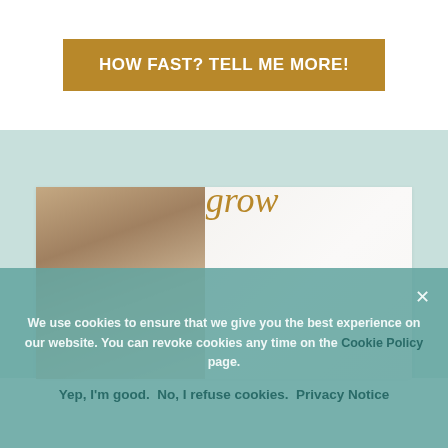HOW FAST? TELL ME MORE!
[Figure (photo): Photo of a woman with long brown hair sitting at a desk, with the script word 'grow' overlaid in gold cursive text]
We use cookies to ensure that we give you the best experience on our website. You can revoke cookies any time on the Cookie Policy page.
Yep, I'm good.  No, I refuse cookies.  Privacy Notice